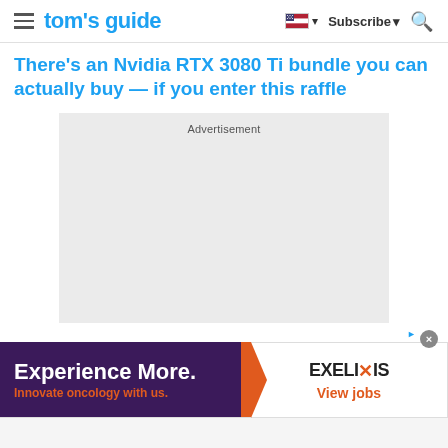tom's guide — Subscribe
There's an Nvidia RTX 3080 Ti bundle you can actually buy — if you enter this raffle
[Figure (other): Advertisement placeholder box (gray rectangle with 'Advertisement' label)]
[Figure (other): Bottom banner ad: 'Experience More. Innovate oncology with us.' with EXELIXIS logo and 'View jobs' text]